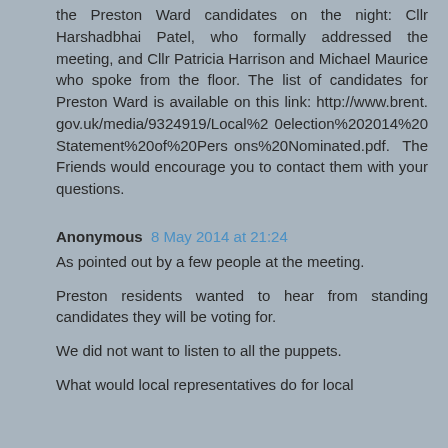the Preston Ward candidates on the night: Cllr Harshadbhai Patel, who formally addressed the meeting, and Cllr Patricia Harrison and Michael Maurice who spoke from the floor. The list of candidates for Preston Ward is available on this link: http://www.brent.gov.uk/media/9324919/Local%20election%202014%20Statement%20of%20Persons%20Nominated.pdf.  The Friends would encourage you to contact them with your questions.
Anonymous 8 May 2014 at 21:24
As pointed out by a few people at the meeting.
Preston residents wanted to hear from standing candidates they will be voting for.
We did not want to listen to all the puppets.
What would local representatives do for local